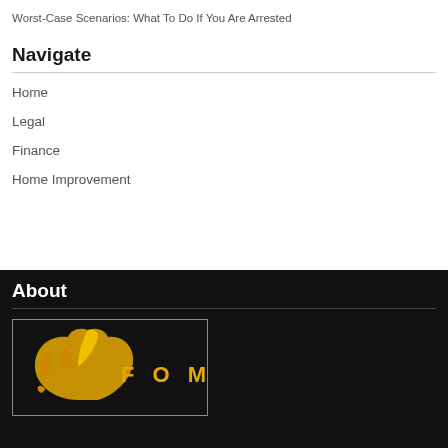Worst-Case Scenarios: What To Do If You Are Arrested
Navigate
Home
Legal
Finance
Home Improvement
About
[Figure (logo): FOM logo with yellow bird icon and text 'F O M' on black background]